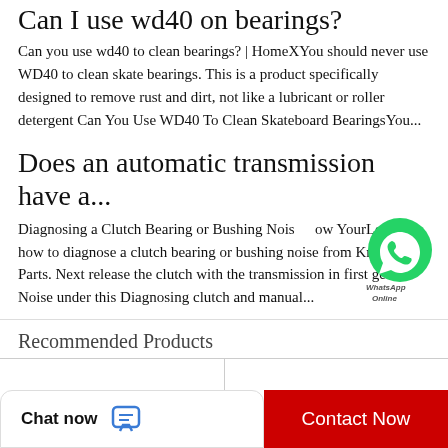Can I use wd40 on bearings?
Can you use wd40 to clean bearings? | HomeXYou should never use WD40 to clean skate bearings. This is a product specifically designed to remove rust and dirt, not like a lubricant or roller detergent Can You Use WD40 To Clean Skateboard BearingsYou...
Does an automatic transmission have a...
Diagnosing a Clutch Bearing or Bushing Noise from Know YourLearn how to diagnose a clutch bearing or bushing noise from Know Your Parts. Next release the clutch with the transmission in first gear. Noise under this Diagnosing clutch and manual...
Recommended Products
[Figure (other): WhatsApp online button overlay]
[Figure (other): Bottom bar with Chat now button and Contact Now button]